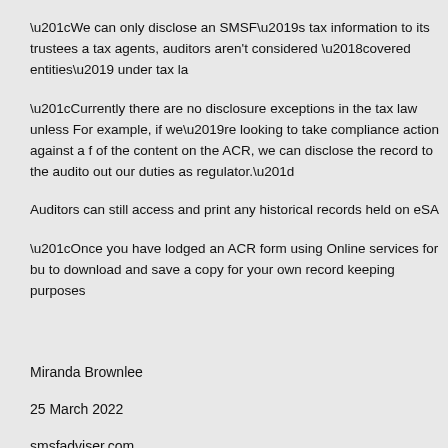“We can only disclose an SMSF’s tax information to its trustees a… tax agents, auditors aren’t considered ‘covered entities’ under tax la…
“Currently there are no disclosure exceptions in the tax law unless… For example, if we’re looking to take compliance action against a f… of the content on the ACR, we can disclose the record to the audito… out our duties as regulator.”
Auditors can still access and print any historical records held on eSA…
“Once you have lodged an ACR form using Online services for bu… to download and save a copy for your own record keeping purposes…
Miranda Brownlee
25 March 2022
smsfadviser.com